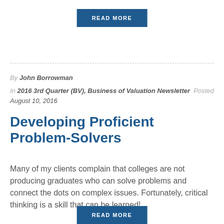READ MORE
By John Borrowman
In 2016 3rd Quarter (BV), Business of Valuation Newsletter  Posted August 10, 2016
Developing Proficient Problem-Solvers
Many of my clients complain that colleges are not producing graduates who can solve problems and connect the dots on complex issues. Fortunately, critical thinking is a skill that can be learned!
READ MORE